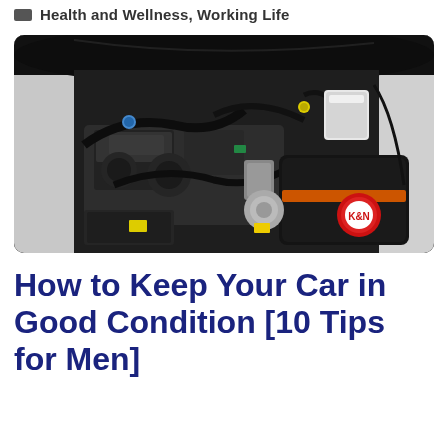Health and Wellness, Working Life
[Figure (photo): Car engine bay photo showing a black engine with hoses, components, and a K&N air intake filter visible on the right side. Hood is open, white car body visible on sides.]
How to Keep Your Car in Good Condition [10 Tips for Men]